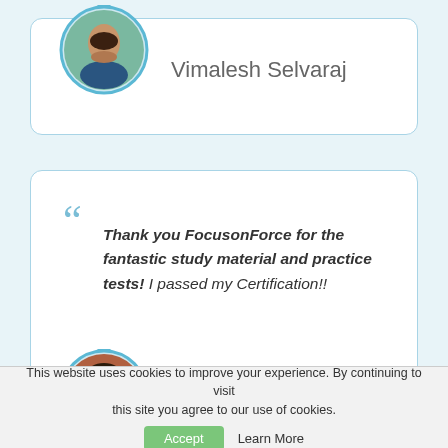[Figure (photo): Circular avatar photo of Vimalesh Selvaraj, a man in a dark jacket outdoors]
Vimalesh Selvaraj
" Thank you FocusonForce for the fantastic study material and practice tests! I passed my Certification!!
[Figure (photo): Circular avatar photo of Sunitha Vissapragada, a woman in a red outfit]
Sunitha Vissapragada
This website uses cookies to improve your experience. By continuing to visit this site you agree to our use of cookies.